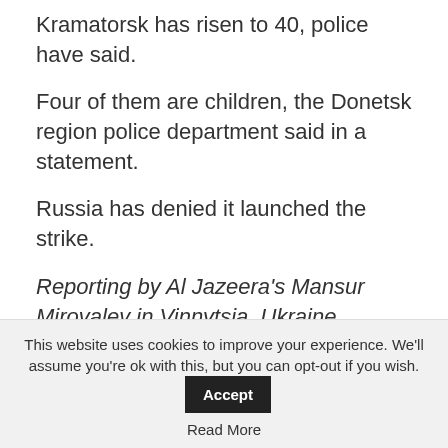Kramatorsk has risen to 40, police have said.
Four of them are children, the Donetsk region police department said in a statement.
Russia has denied it launched the strike.
Reporting by Al Jazeera's Mansur Mirovalev in Vinnytsia, Ukraine
7 hours ago (11:00 GMT)
EU has frozen 30bn euros in
This website uses cookies to improve your experience. We'll assume you're ok with this, but you can opt-out if you wish. Accept Read More